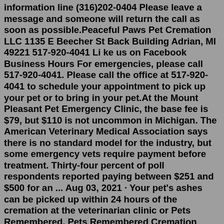information line (316)202-0404 Please leave a message and someone will return the call as soon as possible.Peaceful Paws Pet Cremation LLC 1135 E Beecher St Back Building Adrian, MI 49221 517-920-4041 Li ke us on Facebook Business Hours For emergencies, please call 517-920-4041. Please call the office at 517-920-4041 to schedule your appointment to pick up your pet or to bring in your pet.At the Mount Pleasant Pet Emergency Clinic, the base fee is $79, but $110 is not uncommon in Michigan. The American Veterinary Medical Association says there is no standard model for the industry, but some emergency vets require payment before treatment. Thirty-four percent of poll respondents reported paying between $251 and $500 for an ... Aug 03, 2021 · Your pet's ashes can be picked up within 24 hours of the cremation at the veterinarian clinic or Pets Remembered. Pets Remembered Cremation Service, LLC 15 - 2nd Avenue S.E. New Brighton, MN 55112. Serving families from the 7 counties that comprise the Minneapolis/St. Paul metropolitan area.